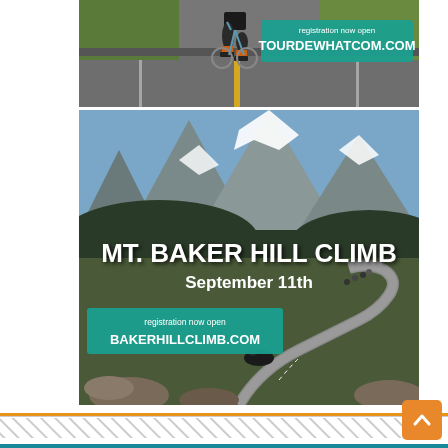[Figure (photo): Composite advertisement image. Top: photo of a cyclist from behind riding on a road with green fields, with a teal banner overlay reading 'registration now open / TOURDEWHATCOM.COM'. Bottom: mountain landscape photo showing Mt. Baker with cyclists on a winding road, with text overlay 'MT. BAKER HILL CLIMB / September 11th' and a teal banner 'registration now open / BAKERHILLCLIMB.COM'.]
registration now open
TOURDEWHATCOM.COM
MT. BAKER HILL CLIMB
September 11th
registration now open
BAKERHILLCLIMB.COM